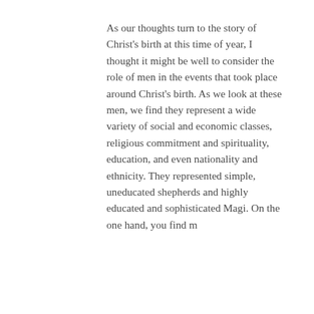As our thoughts turn to the story of Christ's birth at this time of year, I thought it might be well to consider the role of men in the events that took place around Christ's birth. As we look at these men, we find they represent a wide variety of social and economic classes, religious commitment and spirituality, education, and even nationality and ethnicity. They represented simple, uneducated shepherds and highly educated and sophisticated Magi. On the one hand, you find m
[Figure (photo): A photo of a young person outdoors among green trees, with a blue circular button with three dots (more options) overlaid in the lower right of the image.]